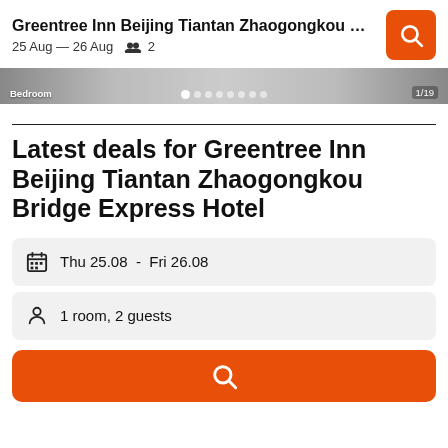Greentree Inn Beijing Tiantan Zhaogongkou … | 25 Aug — 26 Aug  2
[Figure (photo): Hotel bedroom photo strip with pagination dots and Bedroom label, showing 1/19]
Latest deals for Greentree Inn Beijing Tiantan Zhaogongkou Bridge Express Hotel
Thu 25.08  -  Fri 26.08
1 room, 2 guests
[Figure (other): Orange search button at bottom]